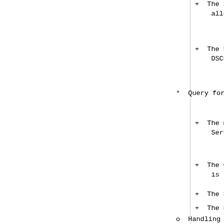+ The Service Requ... allocated for tha
+ The DSCP field i... DSCP value associ
* Query for the previo
+ The message inclu... Service option wi
+ The Operational C... is set to QUERY.
+ The Service Reque
+ The DSCP field in... value of (0).
o Handling a Response to